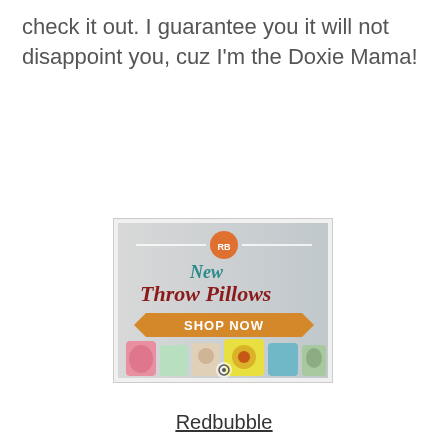check it out. I guarantee you it will not disappoint you, cuz I'm the Doxie Mama!
[Figure (illustration): Redbubble advertisement banner for New Throw Pillows with 'SHOP NOW' button and colorful pillows displayed at the bottom]
Redbubble